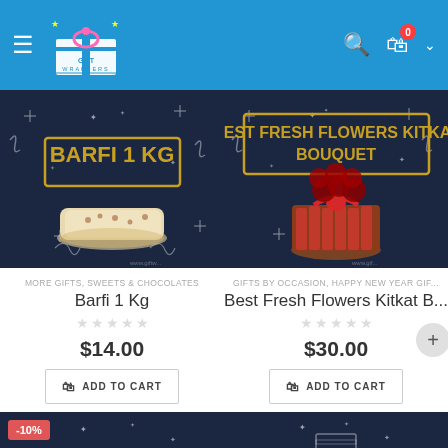Gift Wrappers - Navigation header with logo, search and cart icons
[Figure (photo): Barfi 1 Kg product image on dark background with sparkle decorations]
MORE GIFTS, SWEETS & CHOCOLATES
Barfi 1 Kg
$14.00
ADD TO CART
[Figure (photo): Best Fresh Flowers Kitkat Bouquet product image on dark background]
GIFTS BY OCCASION, HAPPY NEW YEAR GIF...
Best Fresh Flowers Kitkat B...
$30.00
ADD TO CART
[Figure (photo): Bottom left product image with -10% discount badge on dark background]
[Figure (photo): Bottom right product image on dark background]